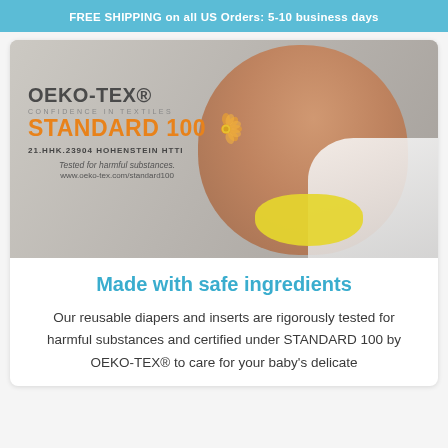FREE SHIPPING on all US Orders: 5-10 business days
[Figure (photo): Mother holding baby wearing yellow diaper with OEKO-TEX STANDARD 100 certification badge overlay]
Made with safe ingredients
Our reusable diapers and inserts are rigorously tested for harmful substances and certified under STANDARD 100 by OEKO-TEX® to care for your baby's delicate